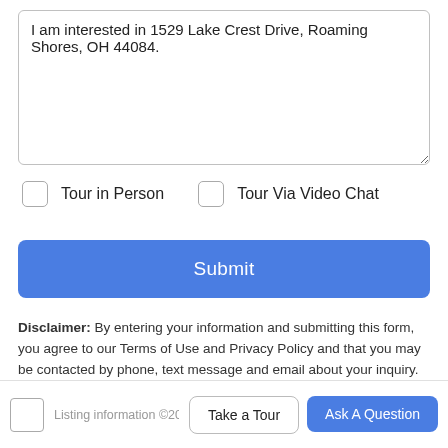I am interested in 1529 Lake Crest Drive, Roaming Shores, OH 44084.
Tour in Person
Tour Via Video Chat
Submit
Disclaimer: By entering your information and submitting this form, you agree to our Terms of Use and Privacy Policy and that you may be contacted by phone, text message and email about your inquiry.
Take a Tour
Ask A Question